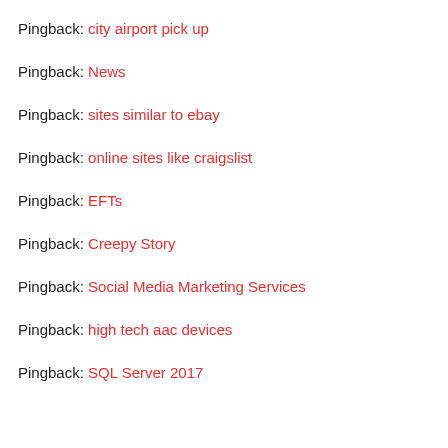Pingback: city airport pick up
Pingback: News
Pingback: sites similar to ebay
Pingback: online sites like craigslist
Pingback: EFTs
Pingback: Creepy Story
Pingback: Social Media Marketing Services
Pingback: high tech aac devices
Pingback: SQL Server 2017